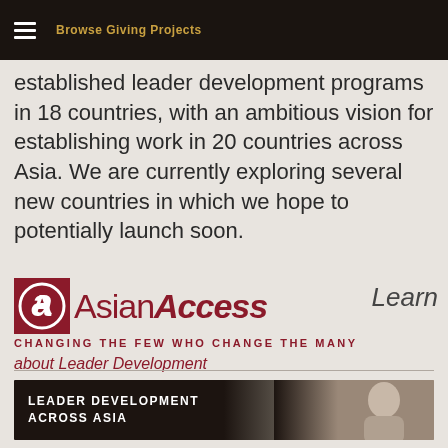Browse Giving Projects
established leader development programs in 18 countries, with an ambitious vision for establishing work in 20 countries across Asia. We are currently exploring several new countries in which we hope to potentially launch soon.
[Figure (logo): Asian Access logo with tagline CHANGING THE FEW WHO CHANGE THE MANY, followed by italic text 'Learn about Leader Development']
[Figure (photo): Banner image with text LEADER DEVELOPMENT ACROSS ASIA overlaid on a dark photo of a person looking upward]